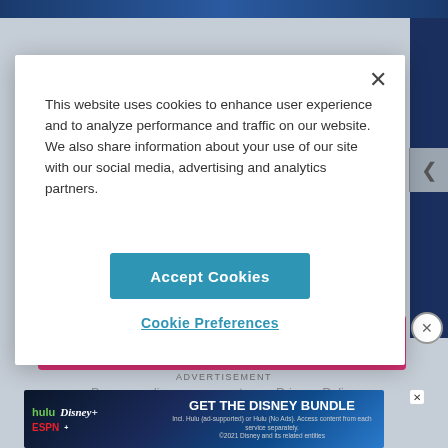This website uses cookies to enhance user experience and to analyze performance and traffic on our website. We also share information about your use of our site with our social media, advertising and analytics partners.
Accept Cookies
Cookie Preferences
ADVERTISEMENT
By proceeding you agree to our Privacy Policy
[Figure (screenshot): Disney Bundle advertisement banner showing Hulu, Disney+, and ESPN+ logos with text GET THE DISNEY BUNDLE]